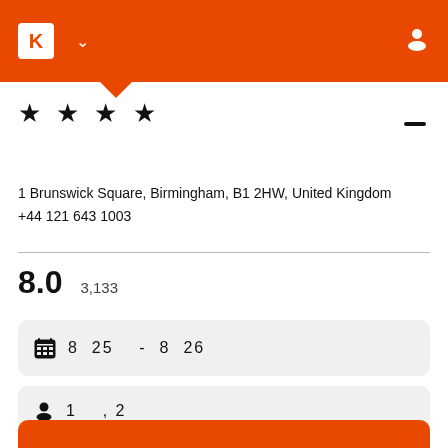K [app header with logo, chevron, user icon]
★ ★ ★ ★
1 Brunswick Square, Birmingham, B1 2HW, United Kingdom
+44 121 643 1003
8.0   3,133
8  25  -  8  26
1  , 2